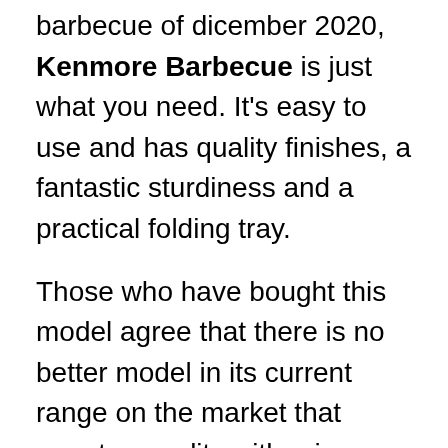barbecue of dicember 2020, Kenmore Barbecue is just what you need. It's easy to use and has quality finishes, a fantastic sturdiness and a practical folding tray.
Those who have bought this model agree that there is no better model in its current range on the market that equates quality with price.
What are you waiting for to receive your Kenmore Barbecue and enjoy its advantages? Take advantage and buy it now!
Best Kenmore grill 3